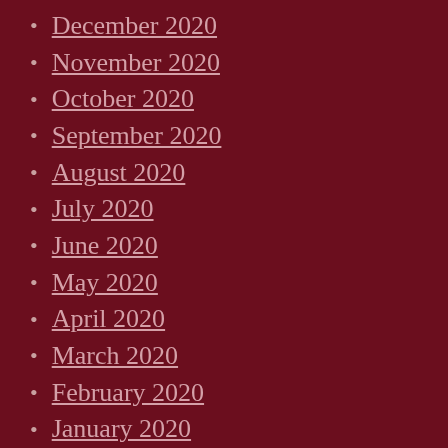December 2020
November 2020
October 2020
September 2020
August 2020
July 2020
June 2020
May 2020
April 2020
March 2020
February 2020
January 2020
December 2019
November 2019
October 2019
September 2019
August 2019